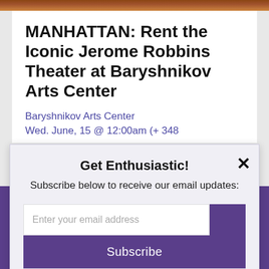[Figure (photo): Top decorative image bar in brown/tan tones]
MANHATTAN: Rent the Iconic Jerome Robbins Theater at Baryshnikov Arts Center
Baryshnikov Arts Center
Wed. June, 15 @ 12:00am (+ 348
Get Enthusiastic!
Subscribe below to receive our email updates:
Enter your email address
Subscribe